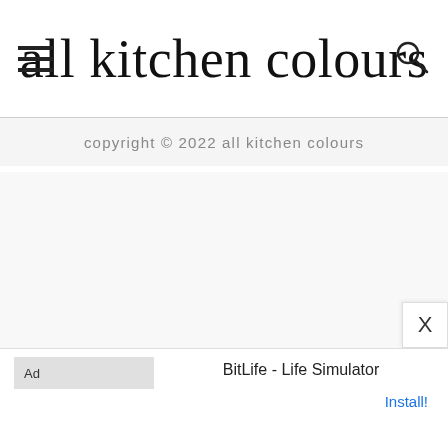all kitchen colours
copyright © 2022 all kitchen colours
[Figure (screenshot): Ad banner for BitLife - Life Simulator with Ad label, close X button, and Install link]